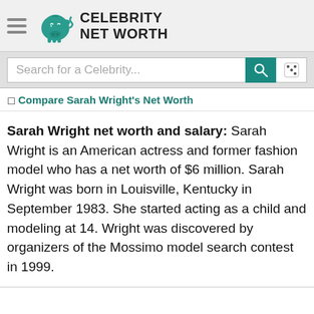Celebrity Net Worth
[Figure (logo): Celebrity Net Worth piggy bank logo with crying face icon and bold text 'CELEBRITY NET WORTH']
Search for a Celebrity...
Compare Sarah Wright's Net Worth
Sarah Wright net worth and salary: Sarah Wright is an American actress and former fashion model who has a net worth of $6 million. Sarah Wright was born in Louisville, Kentucky in September 1983. She started acting as a child and modeling at 14. Wright was discovered by organizers of the Mossimo model search contest in 1999.